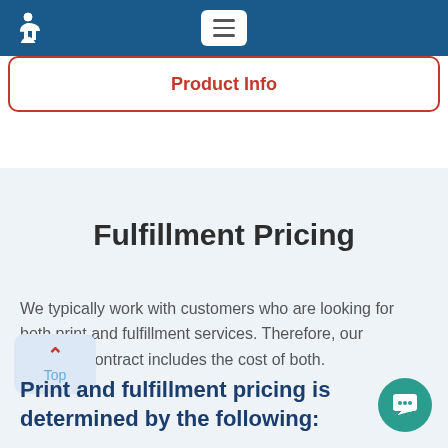Product Info
Fulfillment Pricing
We typically work with customers who are looking for both print and fulfillment services. Therefore, our standard contract includes the cost of both.
Print and fulfillment pricing is determined by the following: